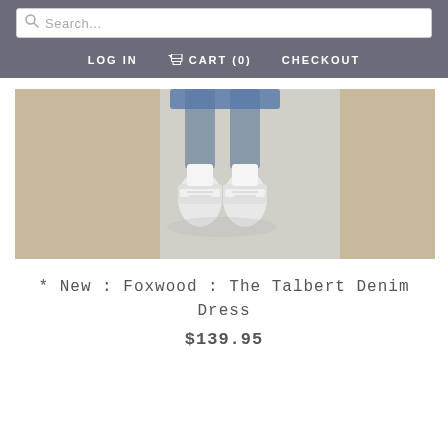Search... | LOG IN  CART (0)  CHECKOUT
[Figure (photo): Lower half of a model wearing a denim dress and white high-top sneakers, against a background split into tan/beige and light grey sections]
* New : Foxwood : The Talbert Denim Dress
$139.95